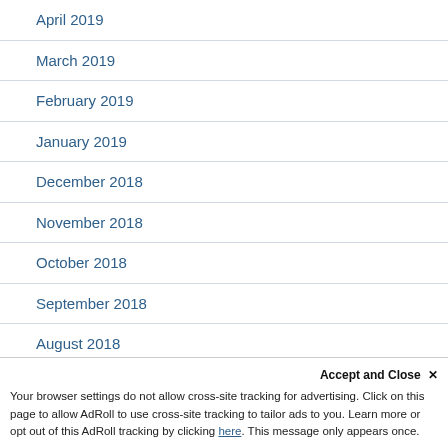April 2019
March 2019
February 2019
January 2019
December 2018
November 2018
October 2018
September 2018
August 2018
July 2018
May 2018
Accept and Close ×
Your browser settings do not allow cross-site tracking for advertising. Click on this page to allow AdRoll to use cross-site tracking to tailor ads to you. Learn more or opt out of this AdRoll tracking by clicking here. This message only appears once.